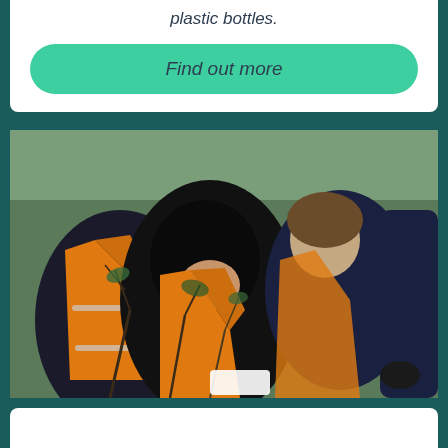plastic bottles.
Find out more
[Figure (photo): Group of young people in orange high-visibility vests and dark clothing bending over plants or saplings outdoors on grass. A woman in a black hijab is smiling while looking down at the vegetation. Others around her are also leaning over. It appears to be a tree planting or environmental activity.]